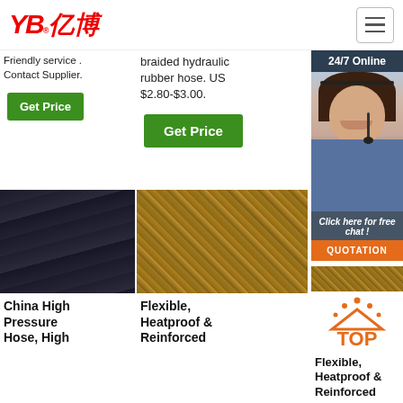[Figure (logo): YB亿博 logo in red italic text with registered trademark]
[Figure (illustration): Hamburger menu icon button]
Friendly service . Contact Supplier.
braided hydraulic rubber hose. US $2.80-$3.00.
[Figure (illustration): 24/7 Online customer service representative with headset]
Click here for free chat !
QUOTATION
Get Price
Get Price
[Figure (photo): China High Pressure Hose - dark rubber tubes stacked]
[Figure (photo): Flexible Heatproof Reinforced braided hose close-up]
[Figure (illustration): TOP arrow icon in orange]
China High Pressure Hose, High
Flexible, Heatproof & Reinforced
Flexible, Heatproof & Reinforced